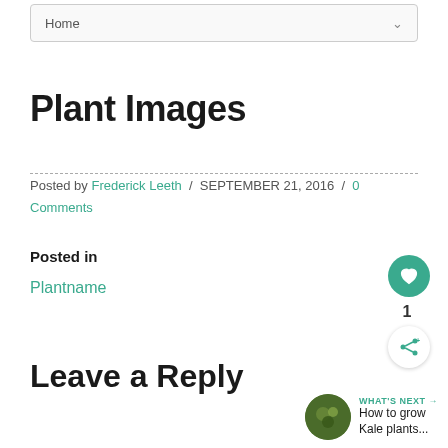Home
Plant Images
Posted by Frederick Leeth / SEPTEMBER 21, 2016 / 0 Comments
Posted in
Plantname
Leave a Reply